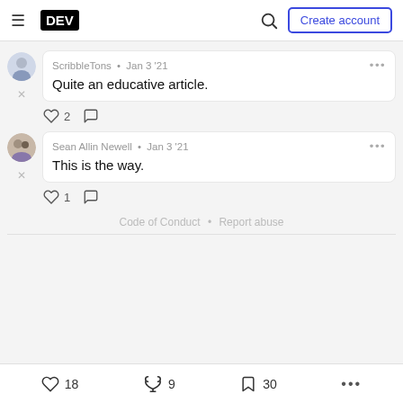DEV — Create account
ScribbleTons • Jan 3 '21
Quite an educative article.
♡ 2  ○
Sean Allin Newell • Jan 3 '21
This is the way.
♡ 1  ○
Code of Conduct • Report abuse
♡ 18   🔥 9   □ 30   ...